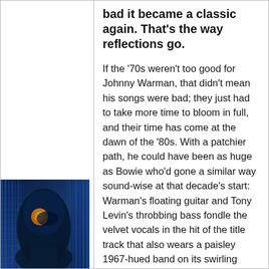bad it became a classic again. That's the way reflections go.
If the '70s weren't too good for Johnny Warman, that didn't mean his songs were bad; they just had to take more time to bloom in full, and their time has come at the dawn of the '80s. With a patchier path, he could have been as huge as Bowie who'd gone a similar way sound-wise at that decade's start: Warman's floating guitar and Tony Levin's throbbing bass fondle the velvet vocals in the hit of the title track that also wears a paisley 1967-hued band on its swirling axis, and the seductive
[Figure (photo): Album cover featuring a close-up of a figure with glowing eye against a blue-toned background with grid-like structures]